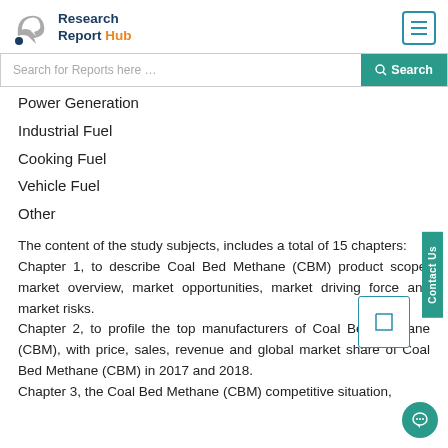Research Report Hub
Power Generation
Industrial Fuel
Cooking Fuel
Vehicle Fuel
Other
The content of the study subjects, includes a total of 15 chapters:
Chapter 1, to describe Coal Bed Methane (CBM) product scope, market overview, market opportunities, market driving force and market risks.
Chapter 2, to profile the top manufacturers of Coal Bed Methane (CBM), with price, sales, revenue and global market share of Coal Bed Methane (CBM) in 2017 and 2018.
Chapter 3, the Coal Bed Methane (CBM) competitive situation,